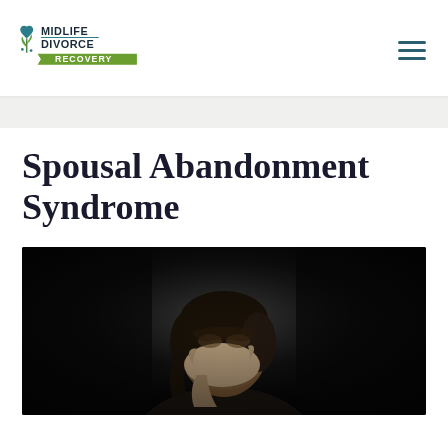[Figure (logo): Midlife Divorce Recovery logo with heart and plant icon in teal/green, text reads MIDLIFE DIVORCE RECOVERY with green banner]
Spousal Abandonment Syndrome
[Figure (photo): Black and white photo of a distressed woman covering her face with her hand, dark background]